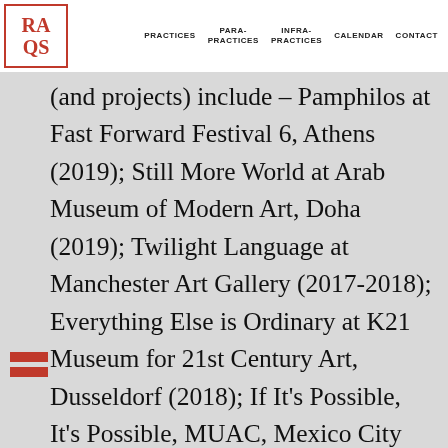RAQS | PRACTICES | PARA-PRACTICES | INFRA-PRACTICES | CALENDAR | CONTACT
(and projects) include – Pamphilos at Fast Forward Festival 6, Athens (2019); Still More World at Arab Museum of Modern Art, Doha (2019); Twilight Language at Manchester Art Gallery (2017-2018); Everything Else is Ordinary at K21 Museum for 21st Century Art, Dusseldorf (2018); If It's Possible, It's Possible, MUAC, Mexico City (2015) and Untimely Calendar at the National Gallery of